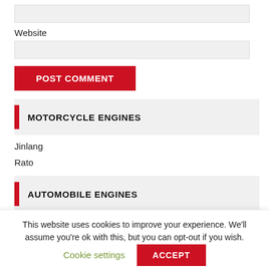(input field — top, unlabeled)
Website
(input field — Website)
POST COMMENT
MOTORCYCLE ENGINES
Jinlang
Rato
AUTOMOBILE ENGINES
This website uses cookies to improve your experience. We'll assume you're ok with this, but you can opt-out if you wish.
Cookie settings
ACCEPT